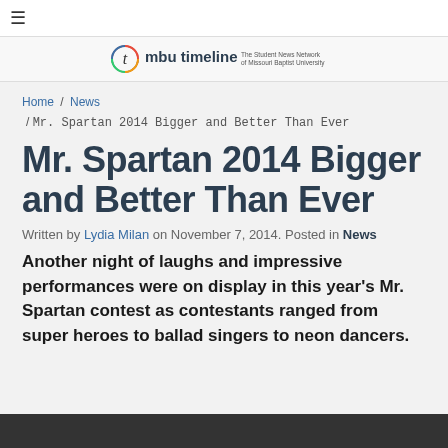≡
[Figure (logo): MBU Timeline logo — circle with letter t, text 'mbu timeline The Student News Network of Missouri Baptist University']
Home / News / Mr. Spartan 2014 Bigger and Better Than Ever
Mr. Spartan 2014 Bigger and Better Than Ever
Written by Lydia Milan on November 7, 2014. Posted in News
Another night of laughs and impressive performances were on display in this year's Mr. Spartan contest as contestants ranged from super heroes to ballad singers to neon dancers.
[Figure (photo): Dark/black bottom strip — bottom of a photograph]